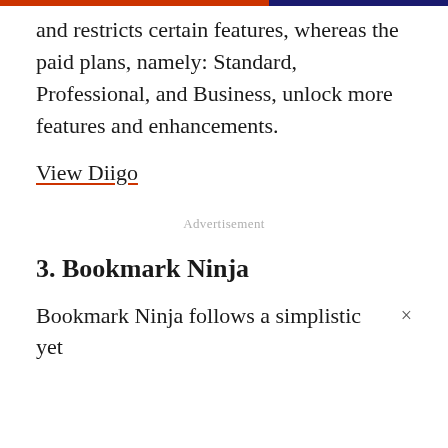and restricts certain features, whereas the paid plans, namely: Standard, Professional, and Business, unlock more features and enhancements.
View Diigo
Advertisement
3. Bookmark Ninja
Bookmark Ninja follows a simplistic yet